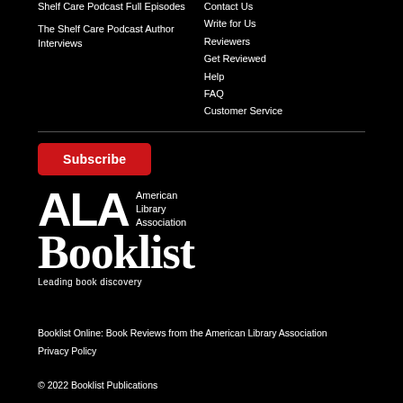Shelf Care Podcast Full Episodes
The Shelf Care Podcast Author Interviews
Contact Us
Write for Us
Reviewers
Get Reviewed
Help
FAQ
Customer Service
[Figure (logo): ALA Booklist logo with Subscribe button. Red Subscribe button, ALA letters with American Library Association text, Booklist in large serif font, tagline: Leading book discovery]
Booklist Online: Book Reviews from the American Library Association
Privacy Policy
© 2022 Booklist Publications